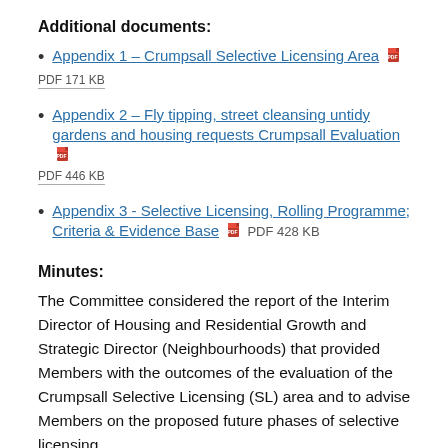Additional documents:
Appendix 1 – Crumpsall Selective Licensing Area  PDF 171 KB
Appendix 2 – Fly tipping, street cleansing untidy gardens and housing requests Crumpsall Evaluation  PDF 446 KB
Appendix 3 - Selective Licensing, Rolling Programme; Criteria & Evidence Base  PDF 428 KB
Minutes:
The Committee considered the report of the Interim Director of Housing and Residential Growth and Strategic Director (Neighbourhoods) that provided Members with the outcomes of the evaluation of the Crumpsall Selective Licensing (SL) area and to advise Members on the proposed future phases of selective licensing.